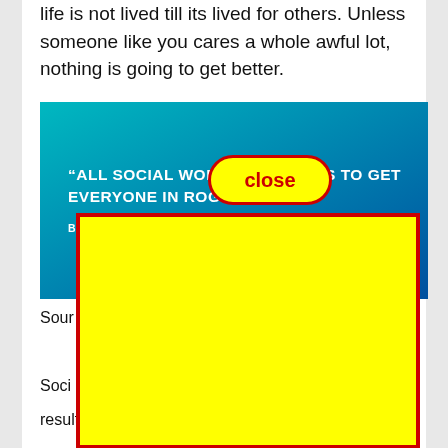life is not lived till its lived for others. Unless someone like you cares a whole awful lot, nothing is going to get better.
[Figure (infographic): Teal/blue gradient background image with bold white uppercase text reading: "ALL SOCIAL WORKERS WANT IS TO GET EVERYONE IN... PROGRAMME. BECAUSE A PROGRAMME PROVIDES FULL" with a yellow 'close' button overlay and a large yellow rectangle with red border obscuring part of the image.]
Sour...
Soci... d resulting counter transference. If somebody puts